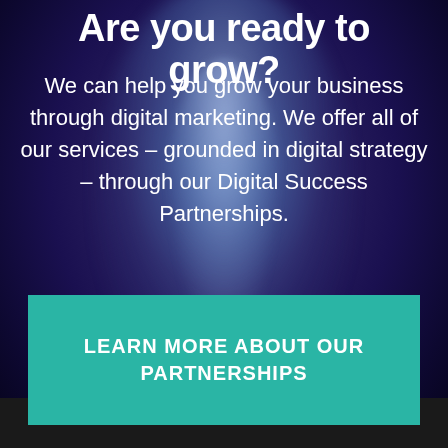Are you ready to grow?
We can help you grow your business through digital marketing. We offer all of our services – grounded in digital strategy – through our Digital Success Partnerships.
LEARN MORE ABOUT OUR PARTNERSHIPS